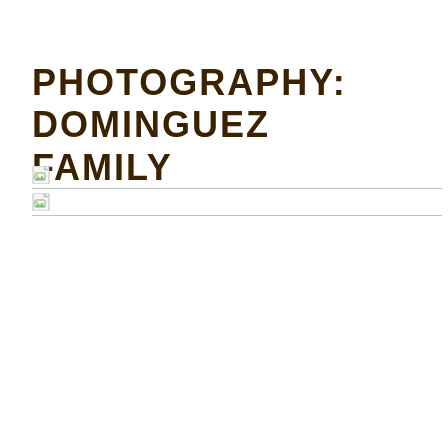PHOTOGRAPHY: DOMINGUEZ FAMILY
[Figure (other): Two broken/missing image placeholders shown as small document icons with a colored corner, each in a row separated by a thin horizontal line spanning the width of the page.]